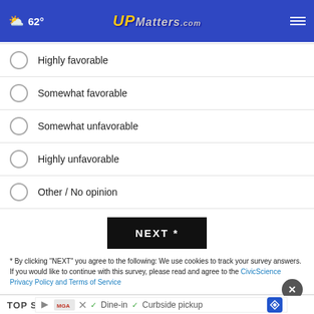62° UPMatters.com
Highly favorable
Somewhat favorable
Somewhat unfavorable
Highly unfavorable
Other / No opinion
NEXT *
* By clicking "NEXT" you agree to the following: We use cookies to track your survey answers. If you would like to continue with this survey, please read and agree to the CivicScience Privacy Policy and Terms of Service
TOP S
[Figure (screenshot): Ad banner showing Dine-in and Curbside pickup options with map/navigation icon]